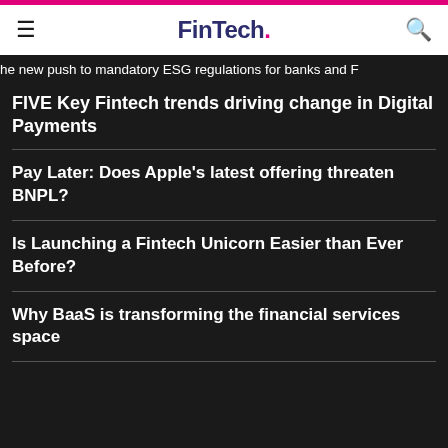FinTech.
he new push to mandatory ESG regulations for banks and F
FIVE Key Fintech trends driving change in Digital Payments
Pay Later: Does Apple's latest offering threaten BNPL?
Is Launching a Fintech Unicorn Easier than Ever Before?
Why BaaS is transforming the financial services space